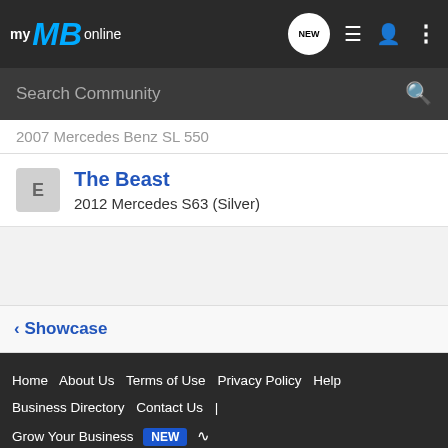myMBonline — navigation bar with search
2007 Mercedes Benz SL 550
The Beast
2012 Mercedes S63 (Silver)
< Showcase
Home   About Us   Terms of Use   Privacy Policy   Help   Business Directory   Contact Us   |   Grow Your Business   NEW   RSS
VerticalScope Inc., 111 Peter Street, Suite 600, Toronto, Ontario, M5V 2H1, Canada